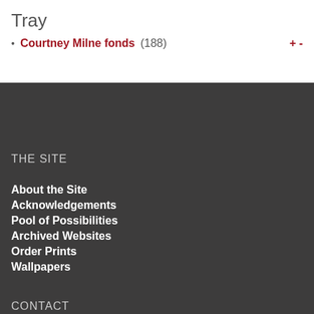Tray
Courtney Milne fonds (188)  + -
THE SITE
About the Site
Acknowledgements
Pool of Possibilities
Archived Websites
Order Prints
Wallpapers
CONTACT